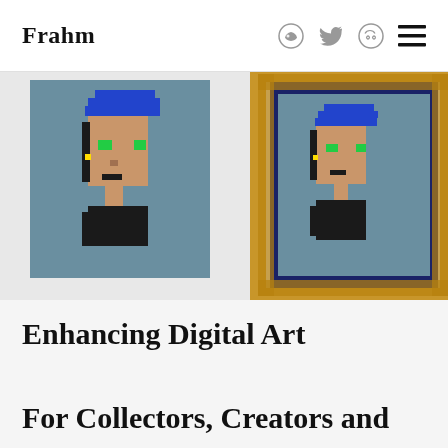Frahm
[Figure (illustration): Two pixel-art CryptoPunk style NFT character images side by side. Left: character with blue hair on a teal/gray background. Right: same character displayed inside an ornate golden picture frame on teal background.]
Enhancing Digital Art
For Collectors, Creators and